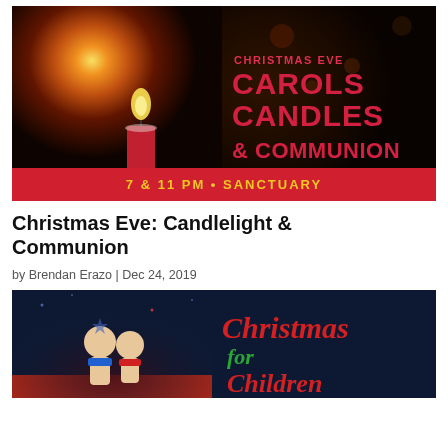[Figure (photo): Dark background photo of a lit red candle with bokeh lights, overlaid with text: 'Christmas Eve', 'Carols Candles & Communion', '7 & 11 PM • Sanctuary' on a red banner.]
Christmas Eve: Candlelight & Communion
by Brendan Erazo | Dec 24, 2019
[Figure (photo): Dark blue background with wooden peg figurines wearing scarves and text 'Christmas for Children' in red and green script lettering.]